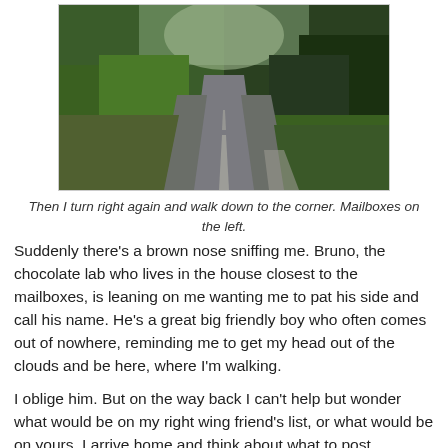[Figure (photo): A paved road stretching into the distance, flanked by trees and green grass on both sides, taken on a summer day.]
Then I turn right again and walk down to the corner. Mailboxes on the left.
Suddenly there's a brown nose sniffing me. Bruno, the chocolate lab who lives in the house closest to the mailboxes, is leaning on me wanting me to pat his side and call his name. He's a great big friendly boy who often comes out of nowhere, reminding me to get my head out of the clouds and be here, where I'm walking.
I oblige him. But on the way back I can't help but wonder what would be on my right wing friend's list, or what would be on yours. I arrive home and think about what to post. Something they can leave a favorite, affect the changes they